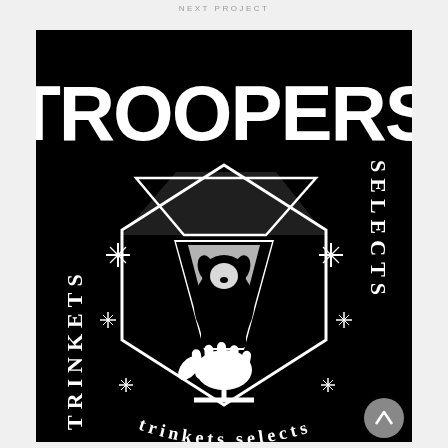NEXT PROJECT
[Figure (illustration): Black background graphic with large bold distressed white text 'TROOPERS' at top. Center features a hand holding a martini glass with a dog inside, surrounded by sparkle/diamond star shapes. Left side has vertical gothic text 'TRINKETS' rotated. Right side has vertical gothic text 'SELECTS' rotated. Bottom has curved gothic text. Overall style is dark punk/rock merchandise design.]